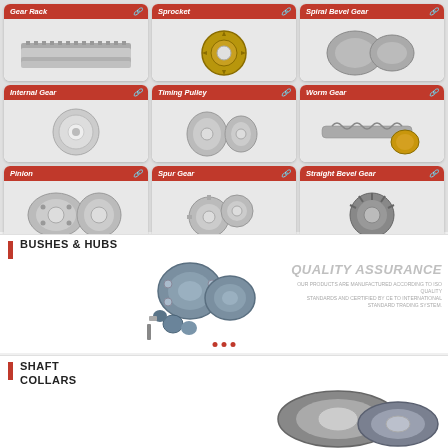[Figure (photo): 3x3 product grid showing gear components: Row1: Gear Rack, Sprocket, Spiral Bevel Gear; Row2: Internal Gear, Timing Pulley, Worm Gear; Row3: Pinion, Spur Gear, Straight Bevel Gear]
BUSHES & HUBS
[Figure (photo): Photo of bushes and hubs components]
QUALITY ASSURANCE
OUR PRODUCTS ARE MANUFACTURED ACCORDING TO ISO QUALITY STANDARDS AND CERTIFIED BY CE TO INTERNATIONAL STANDARD TRADING SYSTEM.
SHAFT COLLARS